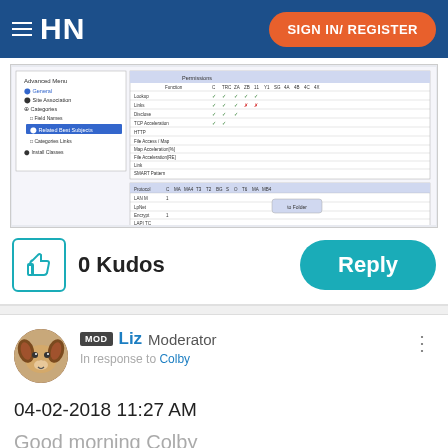HN | SIGN IN/ REGISTER
[Figure (screenshot): Screenshot of a software interface showing a table/matrix with checkmarks and configuration options]
0 Kudos
Reply
MOD Liz Moderator
In response to Colby
04-02-2018 11:27 AM
Good morning Colby